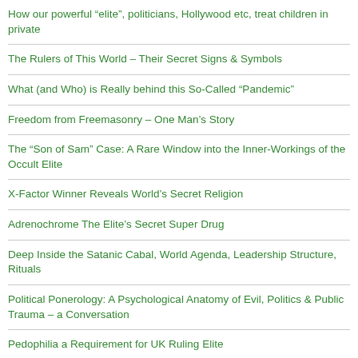How our powerful “elite”, politicians, Hollywood etc, treat children in private
The Rulers of This World – Their Secret Signs & Symbols
What (and Who) is Really behind this So-Called “Pandemic”
Freedom from Freemasonry – One Man’s Story
The “Son of Sam” Case: A Rare Window into the Inner-Workings of the Occult Elite
X-Factor Winner Reveals World’s Secret Religion
Adrenochrome The Elite’s Secret Super Drug
Deep Inside the Satanic Cabal, World Agenda, Leadership Structure, Rituals
Political Ponerology: A Psychological Anatomy of Evil, Politics & Public Trauma – a Conversation
Pedophilia a Requirement for UK Ruling Elite
The Secret Covenant, Luciferian Blood Oath Pact